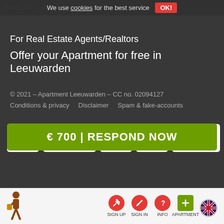About us · Contact · Info
We use cookies for the best service  OK!
For Real Estate Agents/Realtors
Offer your Apartment for free in Leeuwarden
© 2021 – Apartment Leeuwarden – CC no. 02094127
Conditions & privacy    Disclaimer    Spam & fake-accounts
[Figure (logo): Payment method logos: iDEAL, PayPal, Mastercard, Maestro, VISA]
€ 700 | RESPOND NOW
SIGN UP  SIGN IN  INFO  APARTMENT